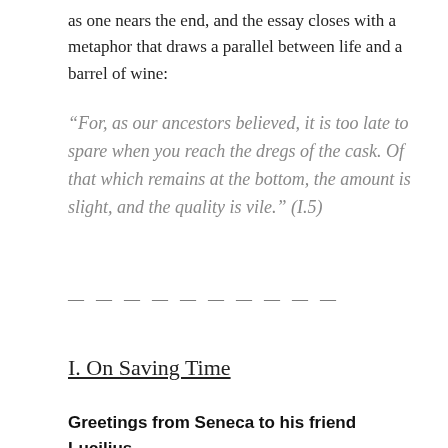as one nears the end, and the essay closes with a metaphor that draws a parallel between life and a barrel of wine:
“For, as our ancestors believed, it is too late to spare when you reach the dregs of the cask. Of that which remains at the bottom, the amount is slight, and the quality is vile.” (I.5)
— — — — — — — — — —
I. On Saving Time
Greetings from Seneca to his friend Lucilius.